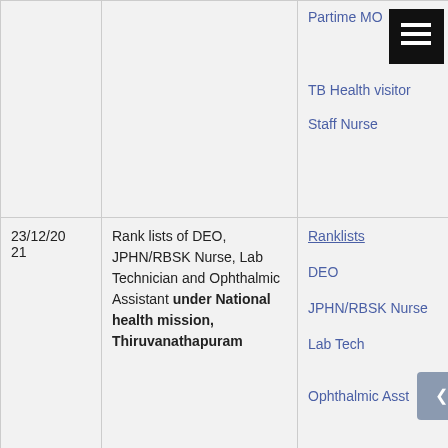| Date | Description | Links |
| --- | --- | --- |
|  |  | Partime MO
TB Health visitor
Staff Nurse |
| 23/12/2021 | Rank lists of DEO, JPHN/RBSK Nurse, Lab Technician and Ophthalmic Assistant under National health mission, Thiruvanathapuram | Ranklists
DEO
JPHN/RBSK Nurse
Lab Tech
Ophthalmic Asst |